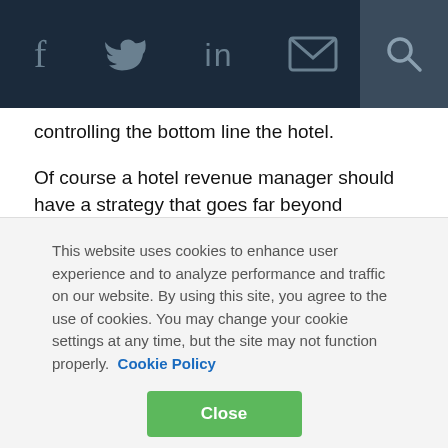[Navigation bar with social icons: Facebook, Twitter, LinkedIn, Email, Search]
controlling the bottom line the hotel.
Of course a hotel revenue manager should have a strategy that goes far beyond REVPAR. NREVPAR (read article) and GOPAR are of instrumental importance.
We have seen an overall revenue growth of 15.8% in first three quarters of 2011, through strategic pricing strategies. We looked beyond mere cost control and had our hotel clients invest in SEO and internet marketing to increase
This website uses cookies to enhance user experience and to analyze performance and traffic on our website. By using this site, you agree to the use of cookies. You may change your cookie settings at any time, but the site may not function properly. Cookie Policy
Close